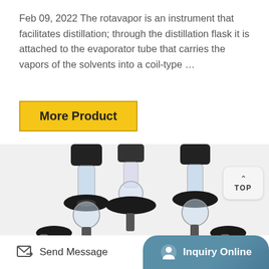Feb 09, 2022 The rotavapor is an instrument that facilitates distillation; through the distillation flask it is attached to the evaporator tube that carries the vapors of the solvents into a coil-type …
[Figure (other): Yellow 'More Product' button with dark border]
[Figure (photo): Photo of laboratory distillation equipment with multiple glass vials and black screw caps mounted on black star-shaped holders]
Send Message    Inquiry Online